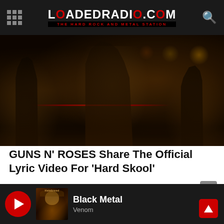LOADEDRADIO.COM — THE HARD ROCK AND METAL STATION
[Figure (photo): Concert photo of Guns N' Roses band members performing on stage with orange stage lighting and a red laser beam]
GUNS N' ROSES Share The Official Lyric Video For 'Hard Skool'
loadedradio - December 3, 2021
[Figure (photo): Black and white crowd photo with hands raised]
Black Metal — Venom (player bar)